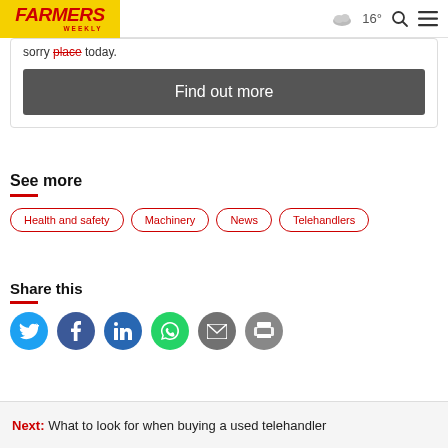Farmers Weekly — 16°
sorry ... place today.
Find out more
See more
Health and safety
Machinery
News
Telehandlers
Share this
Next: What to look for when buying a used telehandler